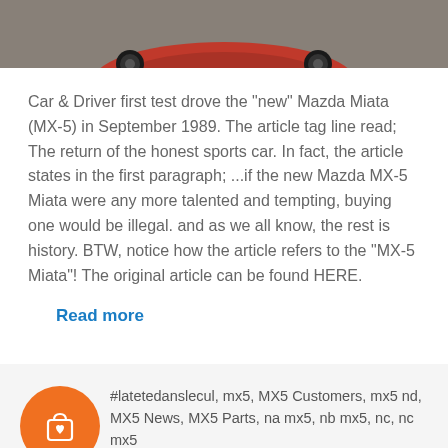[Figure (photo): Top portion of a red Mazda Miata MX-5 photographed from above on a dark asphalt surface, showing the roof and wheels.]
Car & Driver first test drove the "new" Mazda Miata (MX-5) in September 1989. The article tag line read; The return of the honest sports car. In fact, the article states in the first paragraph; ...if the new Mazda MX-5 Miata were any more talented and tempting, buying one would be illegal. and as we all know, the rest is history. BTW, notice how the article refers to the "MX-5 Miata"! The original article can be found HERE.
Read more
[Figure (logo): Orange circle icon with a shopping bag and heart symbol in white.]
#latetedanslecul, mx5, MX5 Customers, mx5 nd, MX5 News, MX5 Parts, na mx5, nb mx5, nc, nc mx5